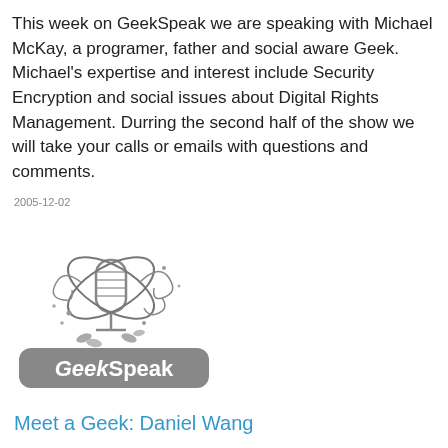This week on GeekSpeak we are speaking with Michael McKay, a programer, father and social aware Geek. Michael's expertise and interest include Security Encryption and social issues about Digital Rights Management. Durring the second half of the show we will take your calls or emails with questions and comments.
2005-12-02
[Figure (logo): GeekSpeak podcast logo: grayscale image of a microphone with decorative swirls and orbiting elements, with 'GeekSpeak' text in bold on a rounded rectangle banner below.]
Meet a Geek: Daniel Wang